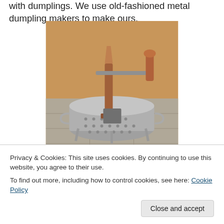with dumplings. We use old-fashioned metal dumpling makers to make ours.
[Figure (photo): An old-fashioned metal dumpling maker (a round perforated metal strainer/press with wooden handles and a crank mechanism) sitting on a tiled surface in front of a wooden wall.]
Privacy & Cookies: This site uses cookies. By continuing to use this website, you agree to their use.
To find out more, including how to control cookies, see here: Cookie Policy